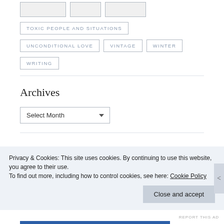TOXIC PEOPLE AND SITUATIONS
UNCONDITIONAL LOVE
VINTAGE
WINTER
WRITING
Archives
Select Month
Privacy & Cookies: This site uses cookies. By continuing to use this website, you agree to their use.
To find out more, including how to control cookies, see here: Cookie Policy
Close and accept